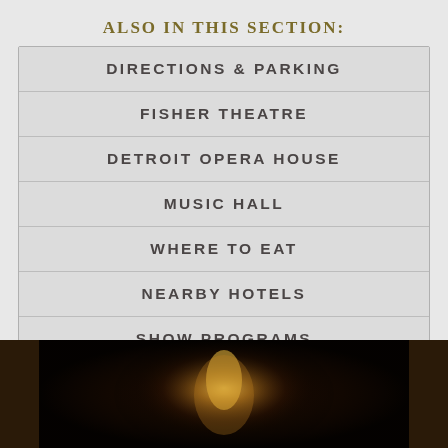ALSO IN THIS SECTION:
DIRECTIONS & PARKING
FISHER THEATRE
DETROIT OPERA HOUSE
MUSIC HALL
WHERE TO EAT
NEARBY HOTELS
SHOW PROGRAMS
[Figure (photo): Dark atmospheric photo, appears to show a figure or performer illuminated with warm golden/amber light against a very dark background]